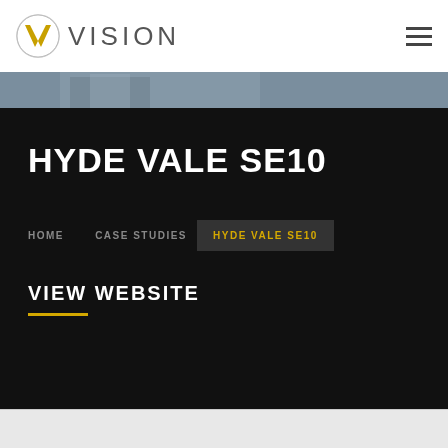[Figure (logo): Vision logo: gold V in a circle with the word VISION in grey text beside it]
VISION
[Figure (photo): Partial view of a modern building exterior, dark background hero image]
HYDE VALE SE10
HOME   CASE STUDIES   HYDE VALE SE10
VIEW WEBSITE